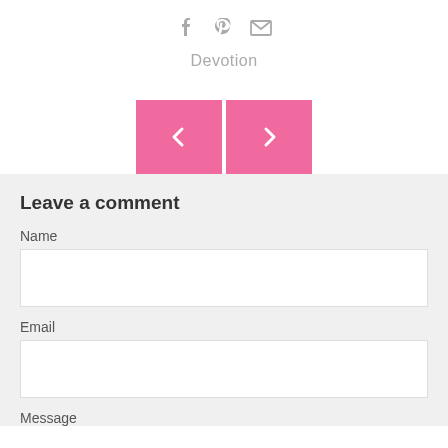[Figure (infographic): Social sharing icons: Facebook (f), Pinterest (p), and email (envelope) in gray]
Devotion
[Figure (infographic): Navigation arrows: pink left chevron button and pink right chevron button]
Leave a comment
Name
Email
Message